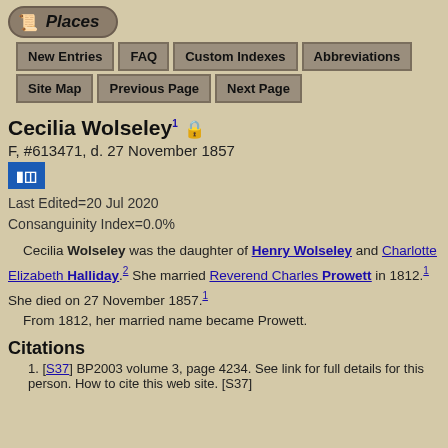[Figure (logo): Places logo with icon and italic text on rounded dark button background]
New Entries | FAQ | Custom Indexes | Abbreviations | Site Map | Previous Page | Next Page
Cecilia Wolseley
F, #613471, d. 27 November 1857
Last Edited=20 Jul 2020
Consanguinity Index=0.0%
Cecilia Wolseley was the daughter of Henry Wolseley and Charlotte Elizabeth Halliday. She married Reverend Charles Prowett in 1812. She died on 27 November 1857. From 1812, her married name became Prowett.
Citations
1. [S37] BP2003 volume 3, page 4234. See link for full details for this person. How to cite this web site. [S37]